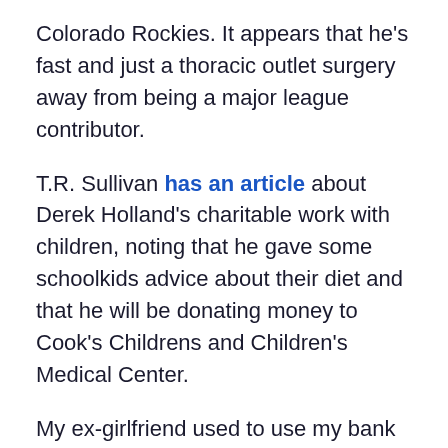Colorado Rockies. It appears that he's fast and just a thoracic outlet surgery away from being a major league contributor.
T.R. Sullivan has an article about Derek Holland's charitable work with children, noting that he gave some schoolkids advice about their diet and that he will be donating money to Cook's Childrens and Children's Medical Center.
My ex-girlfriend used to use my bank information to sign me up for weekly charitable donations to the North Texas Food Bank when she was angry at me. I still get emails from them and, for all I know, I'm still making weekly donations as I never could figure out how to turn the donations off and had to rely on her to do so for me. For those of you who do not require domestic